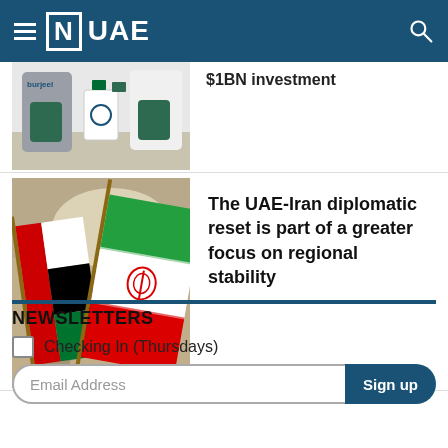[N] UAE
[Figure (photo): Two people holding green bags and small branded flags at what appears to be a healthcare/business signing event, with Burjeel branding visible]
$1BN investment
[Figure (photo): UAE and Iran flags side by side, UAE flag in foreground showing red, white, black and green, Iran flag showing green, white, red with emblem]
The UAE-Iran diplomatic reset is part of a greater focus on regional stability
NEWSLETTERS
Checking In (Thursdays)
Email Address